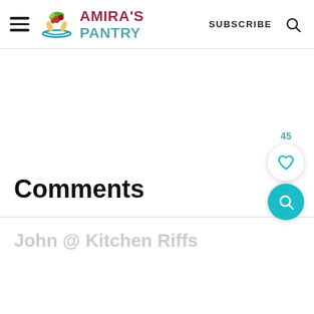Amira's Pantry — SUBSCRIBE
Comments
John @ Kitchen Riffs